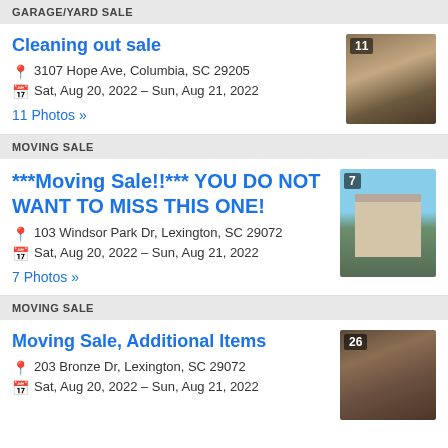GARAGE/YARD SALE
Cleaning out sale
3107 Hope Ave, Columbia, SC 29205
Sat, Aug 20, 2022 – Sun, Aug 21, 2022
11 Photos »
[Figure (photo): Thumbnail of shoes/items with count badge showing 11]
MOVING SALE
***Moving Sale!!*** YOU DO NOT WANT TO MISS THIS ONE!
103 Windsor Park Dr, Lexington, SC 29072
Sat, Aug 20, 2022 – Sun, Aug 21, 2022
7 Photos »
[Figure (photo): Thumbnail of large house with green lawn, count badge showing 7]
MOVING SALE
Moving Sale, Additional Items
203 Bronze Dr, Lexington, SC 29072
Sat, Aug 20, 2022 – Sun, Aug 21, 2022
[Figure (photo): Thumbnail of fur/items with count badge showing 26]